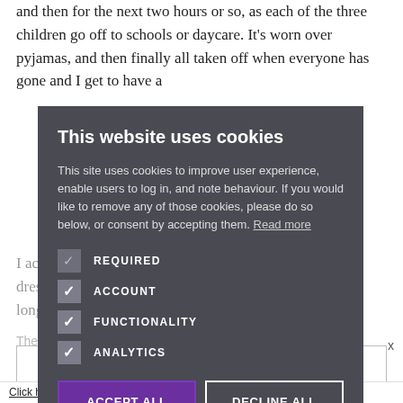and then for the next two hours or so, as each of the three children go off to schools or daycare. It's worn over pyjamas, and then finally all taken off when everyone has gone and I get to have a
[Figure (screenshot): Cookie consent modal overlay with dark grey background showing title 'This website uses cookies', body text explaining cookie usage, checkboxes for REQUIRED, ACCOUNT, FUNCTIONALITY, ANALYTICS (all checked), and two buttons: ACCEPT ALL and DECLINE ALL]
I actually only really started wearing both bottoms and a dressing gown when I had children because it took much longer getting up and getting dressed.
The 'children style' My Sister CLICK HERE TO REGISTER
Click here to read our Privacy Policy